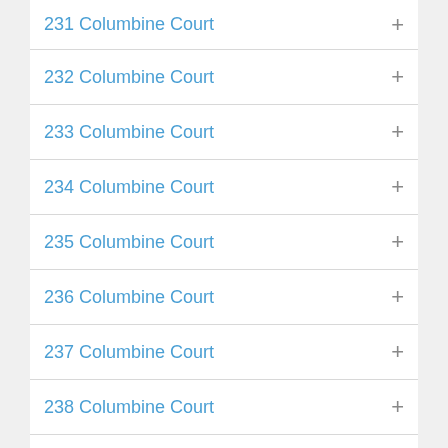231 Columbine Court
232 Columbine Court
233 Columbine Court
234 Columbine Court
235 Columbine Court
236 Columbine Court
237 Columbine Court
238 Columbine Court